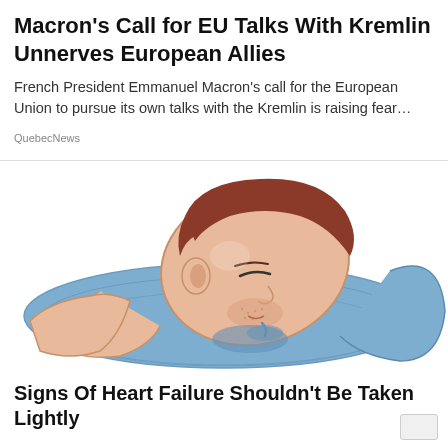Macron's Call for EU Talks With Kremlin Unnerves European Allies
French President Emmanuel Macron's call for the European Union to pursue its own talks with the Kremlin is raising fear…
QuebecNews
[Figure (illustration): Illustration of a man sleeping on a blue pillow with drool, shown from a side/top angle. Cartoon/vector style.]
Signs Of Heart Failure Shouldn't Be Taken Lightly